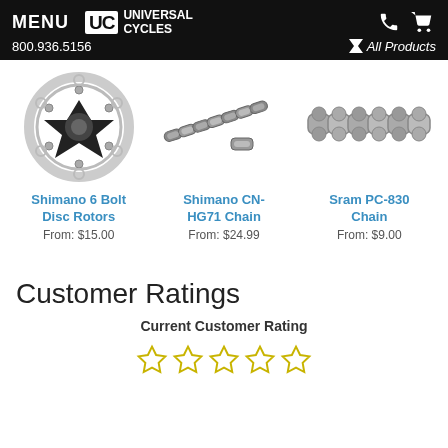MENU | UC Universal Cycles | 800.936.5156 | All Products
[Figure (photo): Shimano 6 Bolt Disc Rotor product photo]
Shimano 6 Bolt Disc Rotors
From: $15.00
[Figure (photo): Shimano CN-HG71 Chain product photo]
Shimano CN-HG71 Chain
From: $24.99
[Figure (photo): Sram PC-830 Chain product photo]
Sram PC-830 Chain
From: $9.00
Customer Ratings
Current Customer Rating
[Figure (other): 5 empty/outline gold star rating icons]